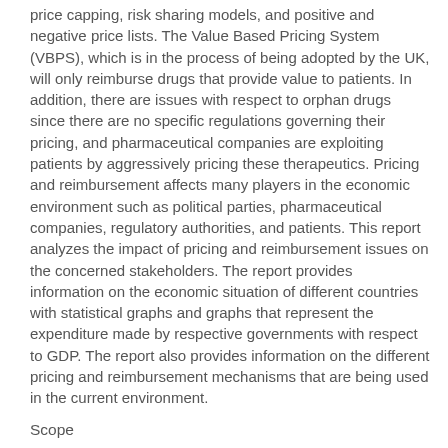price capping, risk sharing models, and positive and negative price lists. The Value Based Pricing System (VBPS), which is in the process of being adopted by the UK, will only reimburse drugs that provide value to patients. In addition, there are issues with respect to orphan drugs since there are no specific regulations governing their pricing, and pharmaceutical companies are exploiting patients by aggressively pricing these therapeutics. Pricing and reimbursement affects many players in the economic environment such as political parties, pharmaceutical companies, regulatory authorities, and patients. This report analyzes the impact of pricing and reimbursement issues on the concerned stakeholders. The report provides information on the economic situation of different countries with statistical graphs and graphs that represent the expenditure made by respective governments with respect to GDP. The report also provides information on the different pricing and reimbursement mechanisms that are being used in the current environment.
Scope
A detailed study of the healthcare systems and roles of the key players in the respective pharmaceutical systems in the US, top five countries of Europe (the UK, Germany, France, Spain and Italy), Japan, Australia and China.